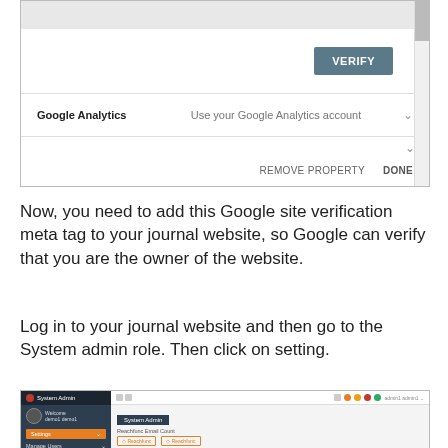[Figure (screenshot): Web interface screenshot showing a VERIFY button, a Google Analytics row with dropdown, and REMOVE PROPERTY / DONE buttons at bottom]
Now, you need to add this Google site verification meta tag to your journal website, so Google can verify that you are the owner of the website.
Log in to your journal website and then go to the System admin role. Then click on setting.
[Figure (screenshot): System Admin dashboard screenshot showing sidebar with Settings and Manage Users options, and main content area with System Admin title and Reachfunc Email Count form]